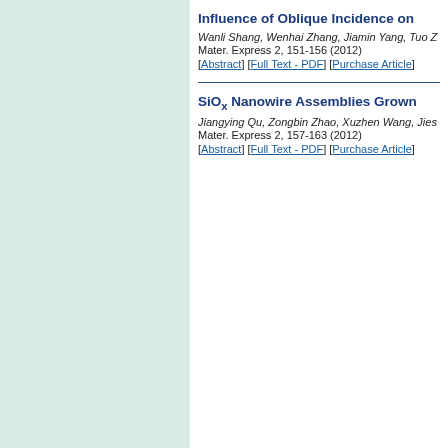Influence of Oblique Incidence on
Wanli Shang, Wenhai Zhang, Jiamin Yang, Tuo Z
Mater. Express 2, 151-156 (2012)
[Abstract] [Full Text - PDF] [Purchase Article]
SiOx Nanowire Assemblies Grown
Jiangying Qu, Zongbin Zhao, Xuzhen Wang, Jies
Mater. Express 2, 157-163 (2012)
[Abstract] [Full Text - PDF] [Purchase Article]